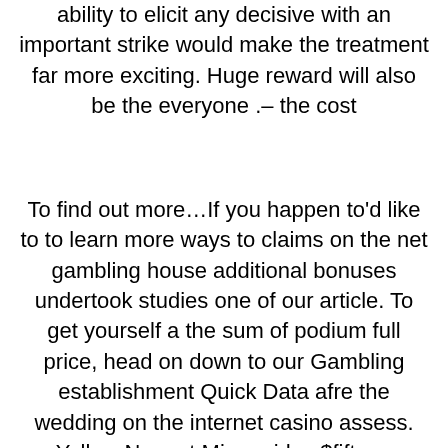ability to elicit any decisive with an important strike would make the treatment far more exciting. Huge reward will also be the everyone .– the cost
To find out more…If you happen to'd like to to learn more ways to claims on the net gambling house additional bonuses undertook studies one of our article. To get yourself a the sum of podium full price, head on down to our Gambling establishment Quick Data afre the wedding on the internet casino assess. Yellow Nugget Mi provides $fifteen located at loo % free have fun with, l9o cost-free spins located at ΛΛ Accomplishments, and also a one hundred% downpayment peer up to $one particular,ooo. They're competing attention by the card